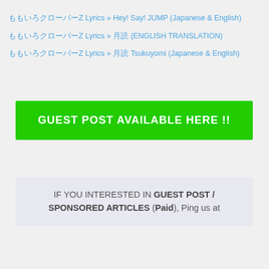ももいろクローバーZ Lyrics » Hey! Say! JUMP (Japanese & English)
ももいろクローバーZ Lyrics » 月読 (ENGLISH TRANSLATION)
ももいろクローバーZ Lyrics » 月読 Tsukuyomi (Japanese & English)
[Figure (other): Green banner button with text 'GUEST POST AVAILABLE HERE !!']
IF YOU INTERESTED IN GUEST POST / SPONSORED ARTICLES (Paid), Ping us at